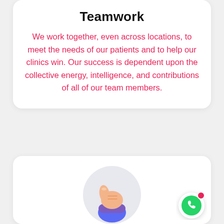Teamwork
We work together, even across locations, to meet the needs of our patients and to help our clinics win. Our success is dependent upon the collective energy, intelligence, and contributions of all of our team members.
[Figure (illustration): Thumbs up hand illustration with purple/blue/peach coloring on a light grey circular background, partially visible at bottom of page]
[Figure (illustration): WhatsApp icon button (green phone in speech bubble) with a red notification dot, in a white circle with shadow]